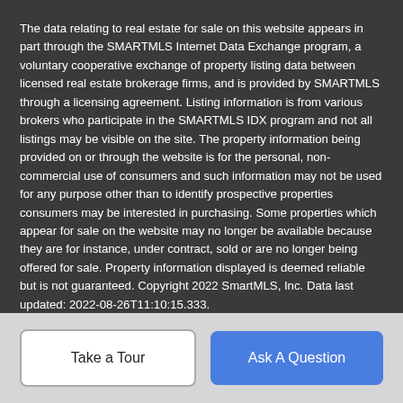The data relating to real estate for sale on this website appears in part through the SMARTMLS Internet Data Exchange program, a voluntary cooperative exchange of property listing data between licensed real estate brokerage firms, and is provided by SMARTMLS through a licensing agreement. Listing information is from various brokers who participate in the SMARTMLS IDX program and not all listings may be visible on the site. The property information being provided on or through the website is for the personal, non-commercial use of consumers and such information may not be used for any purpose other than to identify prospective properties consumers may be interested in purchasing. Some properties which appear for sale on the website may no longer be available because they are for instance, under contract, sold or are no longer being offered for sale. Property information displayed is deemed reliable but is not guaranteed. Copyright 2022 SmartMLS, Inc. Data last updated: 2022-08-26T11:10:15.333.
Take a Tour
Ask A Question